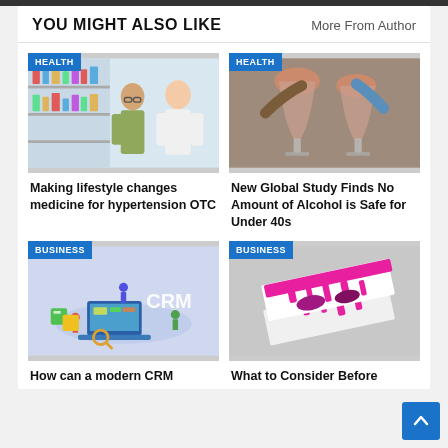YOU MIGHT ALSO LIKE
More From Author
[Figure (photo): Pharmacist or doctor talking to an older patient in front of pharmacy shelves]
HEALTH
Making lifestyle changes medicine for hypertension OTC
[Figure (photo): People clinking wine glasses together]
HEALTH
New Global Study Finds No Amount of Alcohol is Safe for Under 40s
[Figure (photo): Illustrated isometric CRM business concept with small people, laptop, charts]
BUSINESS
How can a modern CRM
[Figure (photo): Pink and white painted book or box with pink paint drips]
BUSINESS
What to Consider Before